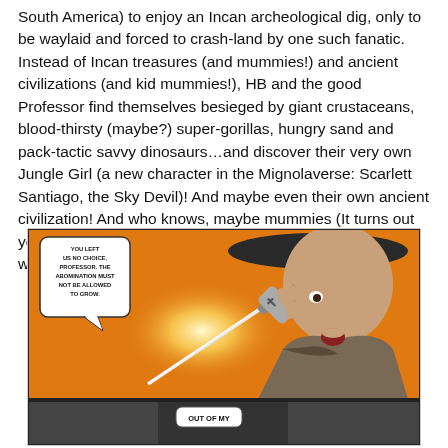South America) to enjoy an Incan archeological dig, only to be waylaid and forced to crash-land by one such fanatic. Instead of Incan treasures (and mummies!) and ancient civilizations (and kid mummies!), HB and the good Professor find themselves besieged by giant crustaceans, blood-thirsty (maybe?) super-gorillas, hungry sand and pack-tactic savvy dinosaurs…and discover their very own Jungle Girl (a new character in the Mignolaverse: Scarlett Santiago, the Sky Devil)! And maybe even their own ancient civilization! And who knows, maybe mummies (It turns out young Hellboy had a bit of a thing for the athletic tape-wrapped undead)!
[Figure (illustration): Comic book panel showing a man in a wide-brimmed hat wielding a cross-shaped dagger on an orange background, with a speech bubble reading 'YOU LEFT US NO CHOICE, PROFESSOR. THE ABOMINATION MUST NOT BE ALLOWED TO GROW.' A second partial panel below shows a dark scene with the text 'OUT OF MY']